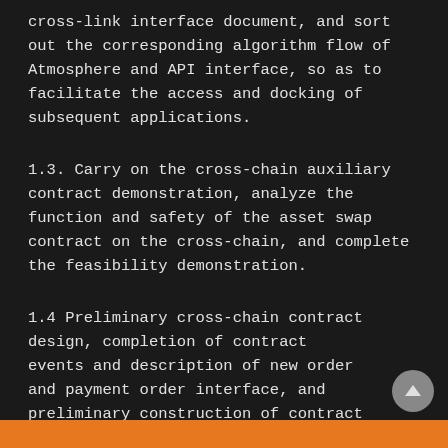cross-link interface document, and sort out the corresponding algorithm flow of Atmosphere and API interface, so as to facilitate the access and docking of subsequent applications.
1.3. Carry on the cross-chain auxiliary contract demonstration, analyze the function and safety of the asset swap contract on the cross-chain, and complete the feasibility demonstration.
1.4 Preliminary cross-chain contract design, completion of contract events and description of new order and payment order interface, and preliminary construction of contract Token swap business logic.